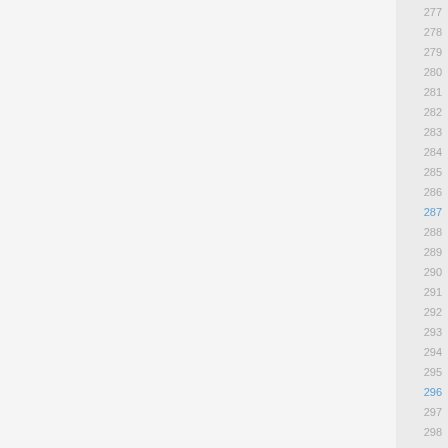photo album finish, general cle... 12 years ago
photo editing 12 years ago